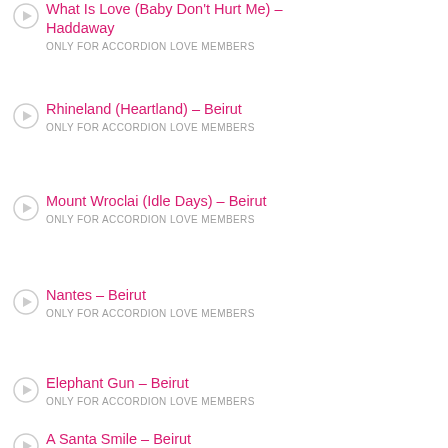What Is Love (Baby Don't Hurt Me) – Haddaway
ONLY FOR ACCORDION LOVE MEMBERS
Rhineland (Heartland) – Beirut
ONLY FOR ACCORDION LOVE MEMBERS
Mount Wroclai (Idle Days) – Beirut
ONLY FOR ACCORDION LOVE MEMBERS
Nantes – Beirut
ONLY FOR ACCORDION LOVE MEMBERS
Elephant Gun – Beirut
ONLY FOR ACCORDION LOVE MEMBERS
A Santa Smile – Beirut